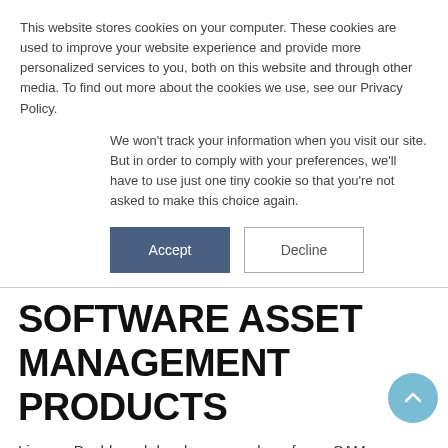This website stores cookies on your computer. These cookies are used to improve your website experience and provide more personalized services to you, both on this website and through other media. To find out more about the cookies we use, see our Privacy Policy.
We won't track your information when you visit our site. But in order to comply with your preferences, we'll have to use just one tiny cookie so that you're not asked to make this choice again.
Accept | Decline
SOFTWARE ASSET MANAGEMENT PRODUCTS
License Dashboard develops a number of core SAM technologies, all of which are available as on-premise and cloud based solutions, with perpetual and subscription licensing options. We're proud to offer a full software asset management product portfolio, which can be tailored to meet your organisation's most pressing needs.